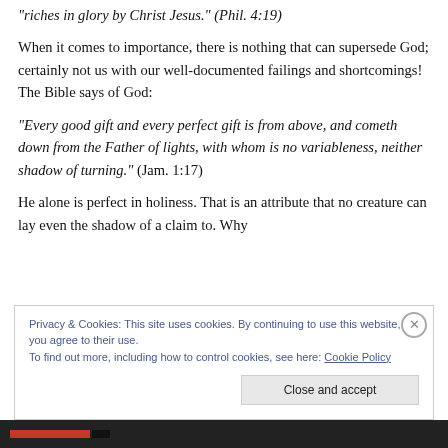“riches in glory by Christ Jesus.” (Phil. 4:19)
When it comes to importance, there is nothing that can supersede God; certainly not us with our well-documented failings and shortcomings! The Bible says of God:
“Every good gift and every perfect gift is from above, and cometh down from the Father of lights, with whom is no variableness, neither shadow of turning.” (Jam. 1:17)
He alone is perfect in holiness. That is an attribute that no creature can lay even the shadow of a claim to. Why
Privacy & Cookies: This site uses cookies. By continuing to use this website, you agree to their use.
To find out more, including how to control cookies, see here: Cookie Policy
Close and accept